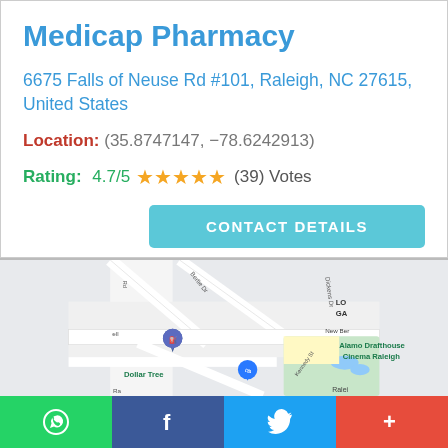Medicap Pharmacy
6675 Falls of Neuse Rd #101, Raleigh, NC 27615, United States
Location: (35.8747147, -78.6242913)
Rating: 4.7/5 ★★★★★ (39) Votes
[Figure (map): Google Maps screenshot showing area near 6675 Falls of Neuse Rd, Raleigh NC, with markers for Alamo Drafthouse Cinema Raleigh, Dollar Tree, and a gas station.]
WhatsApp | Facebook | Twitter | More